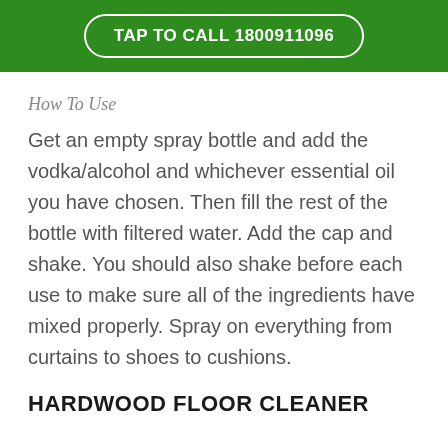TAP TO CALL 1800911096
How To Use
Get an empty spray bottle and add the vodka/alcohol and whichever essential oil you have chosen. Then fill the rest of the bottle with filtered water. Add the cap and shake. You should also shake before each use to make sure all of the ingredients have mixed properly. Spray on everything from curtains to shoes to cushions.
HARDWOOD FLOOR CLEANER